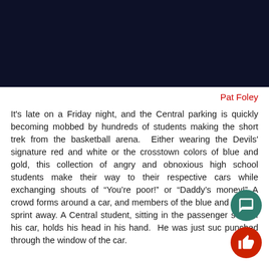[Figure (photo): Dark navy/black banner image at the top of the page]
Pat Foley
It's late on a Friday night, and the Central parking is quickly becoming mobbed by hundreds of students making the short trek from the basketball arena.  Either wearing the Devils' signature red and white or the crosstown colors of blue and gold, this collection of angry and obnoxious high school students make their way to their respective cars while exchanging shouts of “You’re poor!” or “Daddy’s money!” A crowd forms around a car, and members of the blue and g army sprint away. A Central student, sitting in the passenger seat of his car, holds his head in his hand.  He was just suc punched through the window of the car.